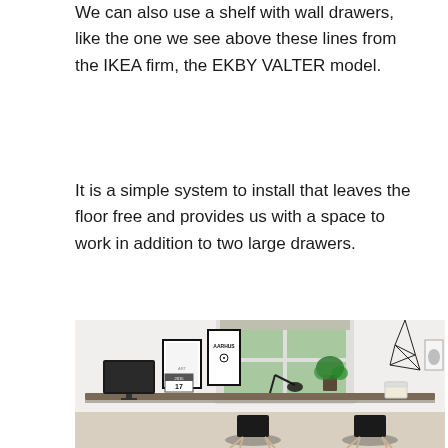We can also use a shelf with wall drawers, like the one we see above these lines from the IKEA firm, the EKBY VALTER model.
It is a simple system to install that leaves the floor free and provides us with a space to work in addition to two large drawers.
[Figure (photo): A minimalist home office setup with a long wall-mounted wooden desk spanning a corner. Two black Eames-style chairs are positioned at the desk. A desktop computer monitor sits on the left side of the desk. Wall decorations including framed art prints (one with 'AARHUS' text, one calendar showing 17) are visible. A window with green foliage outside is in the center background. A geometric wire mobile hangs from the ceiling on the right. A potted plant sits on the desk by the window.]